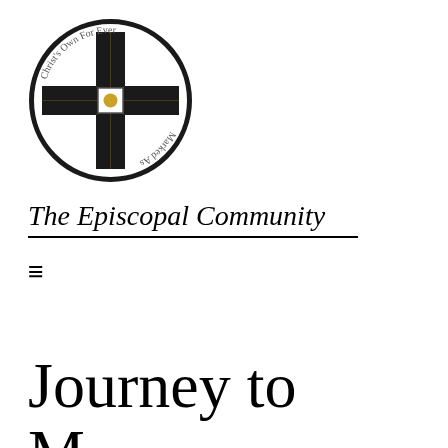[Figure (logo): Episcopal Community circular logo with a gold and black cross inside a circle, text around the border reading 'Christ's Own For Ever' and 'Marked As']
The Episcopal Community
≡
Journey to Membership